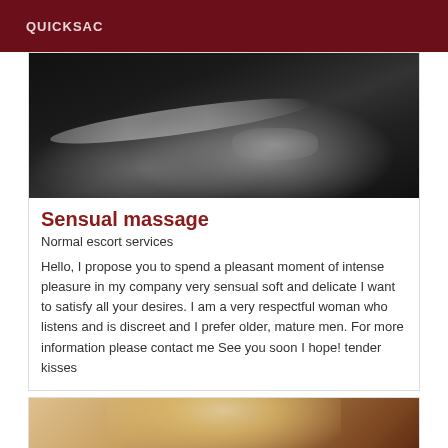QUICKSAC
[Figure (photo): Black and white close-up photo of a person's arm and hand resting on a surface]
Sensual massage
Normal escort services
Hello, I propose you to spend a pleasant moment of intense pleasure in my company very sensual soft and delicate I want to satisfy all your desires. I am a very respectful woman who listens and is discreet and I prefer older, mature men. For more information please contact me See you soon I hope! tender kisses
[Figure (photo): Partial photo showing blonde hair and a wooden background, bottom of page]